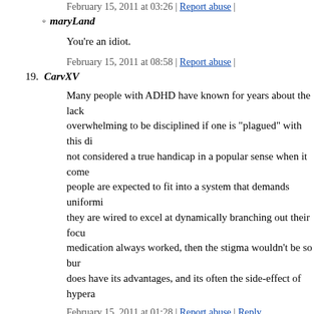February 15, 2011 at 03:26 | Report abuse |
maryLand
You're an idiot.
February 15, 2011 at 08:58 | Report abuse |
19. CarvXV
Many people with ADHD have known for years about the lack overwhelming to be disciplined if one is "plagued" with this di not considered a true handicap in a popular sense when it come people are expected to fit into a system that demands uniformi they are wired to excel at dynamically branching out their focu medication always worked, then the stigma wouldn't be so bur does have its advantages, and its often the side-effect of hypera
February 15, 2011 at 01:28 | Report abuse | Reply
20. jaybones
I'm tellin' ya, it's all the preservatives and the pesticides. It's me started a non-dairy Pescetarian diet. I feel better. My stomach f Vitamin B purge, I have more energy. Give it a shot. I promise
February 15, 2011 at 01:32 | Report abuse | Reply
21. Seemstyle